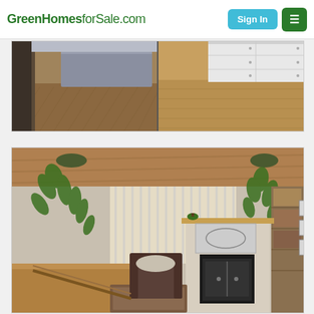GreenHomesforSale.com
[Figure (photo): Interior kitchen/hallway photo showing herringbone wood parquet flooring on the left and white cabinets with warm wood flooring on the right, split into two side-by-side panels]
[Figure (photo): Interior living room photo with high wood-panel ceiling, hanging green plants, vertical blinds on windows, brown leather armchair with cushion, wood-framed fireplace with black stove insert, framed artwork on walls, and built-in bookcase on right]